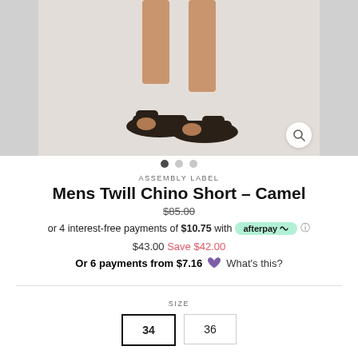[Figure (photo): Product photo of dark brown/black slide sandals worn by a model showing legs from mid-thigh down, on a light gray background. A zoom/search icon is in the bottom right corner.]
ASSEMBLY LABEL
Mens Twill Chino Short – Camel
$85.00
or 4 interest-free payments of $10.75 with afterpay What's this?
$43.00 Save $42.00
Or 6 payments from $7.16 What's this?
SIZE
34
36